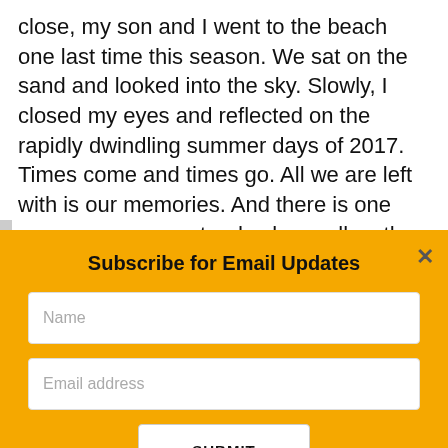close, my son and I went to the beach one last time this season. We sat on the sand and looked into the sky. Slowly, I closed my eyes and reflected on the rapidly dwindling summer days of 2017. Times come and times go. All we are left with is our memories. And there is one summer memory stands above all as the freakiest!
Subscribe for Email Updates
Name
Email address
SUBMIT